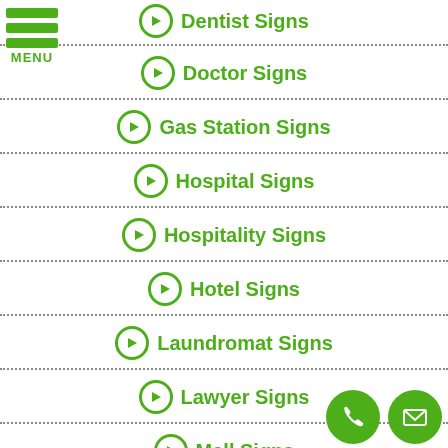[Figure (logo): Green hamburger menu icon with three bars and MENU label]
Dentist Signs
Doctor Signs
Gas Station Signs
Hospital Signs
Hospitality Signs
Hotel Signs
Laundromat Signs
Lawyer Signs
Mall Signs
[Figure (illustration): Two green circle buttons: phone icon and email envelope icon]